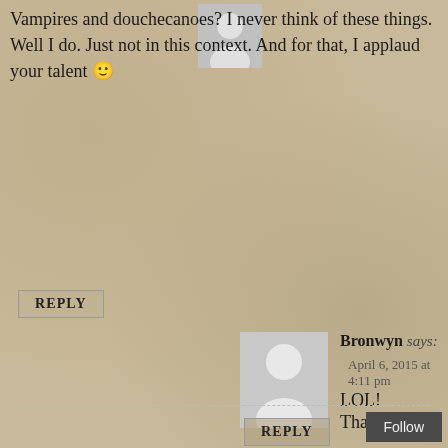[Figure (illustration): Generic user avatar placeholder (grey silhouette on light grey background), top commenter]
Vampires and douchecanoes? I never think of these things. Well I do. Just not in this context. And for that, I applaud your talent 🙂
REPLY
[Figure (illustration): Generic user avatar placeholder (grey silhouette on light grey background), Bronwyn]
Bronwyn says:
April 6, 2015 at 4:11 pm
LOL! Thanks! 😀
REPLY